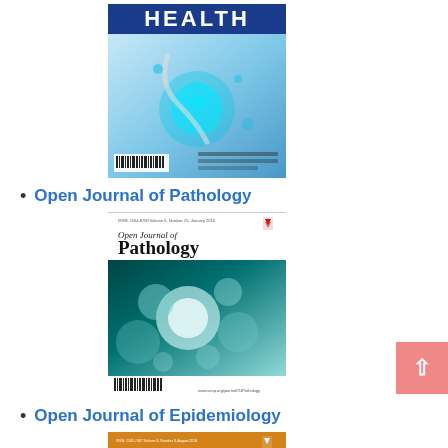[Figure (photo): Cover image of HEALTH journal with blue header bar and medical/technology imagery showing a glowing sphere and stethoscope]
Open Journal of Pathology
[Figure (photo): Cover image of Open Journal of Pathology with white header showing journal title and teal microscopy/cell imagery below]
Open Journal of Epidemiology
[Figure (photo): Partial cover image of Open Journal of Epidemiology with orange top bar, partially visible]